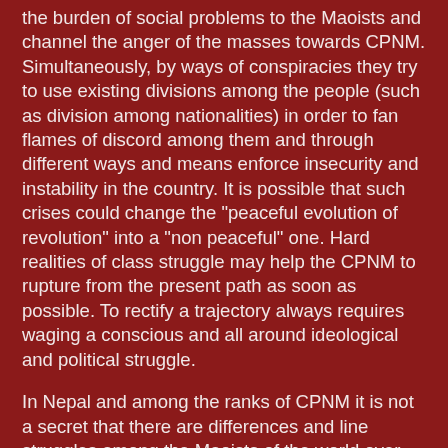the burden of social problems to the Maoists and channel the anger of the masses towards CPNM. Simultaneously, by ways of conspiracies they try to use existing divisions among the people (such as division among nationalities) in order to fan flames of discord among them and through different ways and means enforce insecurity and instability in the country. It is possible that such crises could change the "peaceful evolution of revolution" into a "non peaceful" one. Hard realities of class struggle may help the CPNM to rupture from the present path as soon as possible. To rectify a trajectory always requires waging a conscious and all around ideological and political struggle.
In Nepal and among the ranks of CPNM it is not a secret that there are differences and line struggles among the Maoists of the world over the trajectory that the CPNM have taken up. The leaders and spokespersons of CPNM have pointed to these differences in their open publications several times. For example Prachanda (the chairman of CPNM) made an interview in 2007 and talked about opposition of the Revolutionary Internationalist Movement and Communist Party of India (Maoist) with the current line of CPNM. Or